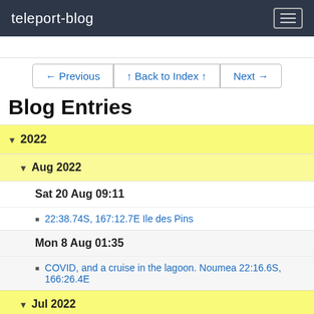teleport-blog
Blog Entries
← Previous | ↑ Back to Index ↑ | Next →
▾ 2022
▾ Aug 2022
Sat 20 Aug 09:11
22:38.74S, 167:12.7E Ile des Pins
Mon 8 Aug 01:35
COVID, and a cruise in the lagoon. Noumea 22:16.6S, 166:26.4E
▾ Jul 2022
Sun 17 Jul 06:16
Baie du Prony 22:22.9S, 166:54.9E